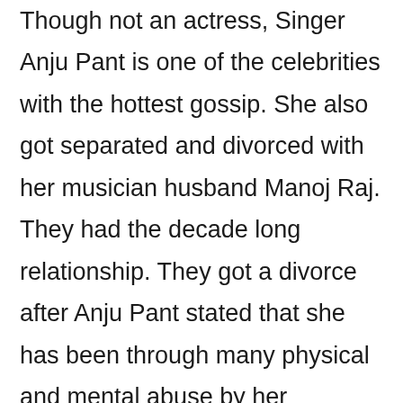Though not an actress, Singer Anju Pant is one of the celebrities with the hottest gossip. She also got separated and divorced with her musician husband Manoj Raj. They had the decade long relationship. They got a divorce after Anju Pant stated that she has been through many physical and mental abuse by her husband. After her divorce with previous husband, Manoj Raj, there is a rumor that she is in an intimate relationship with Actor Bishal Rai and are